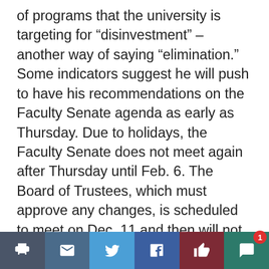of programs that the university is targeting for “disinvestment” – another way of saying “elimination.” Some indicators suggest he will push to have his recommendations on the Faculty Senate agenda as early as Thursday. Due to holidays, the Faculty Senate does not meet again after Thursday until Feb. 6. The Board of Trustees, which must approve any changes, is scheduled to meet on Dec. 11 and then will not meet again until Feb. 5. Sherman said Monday in an email to The Buchtelite that the OSU consultant’s report was one of many sources of input over the years. He said it was shared with faculty but it does not reflect final determinations or decisions. The process of reviewing academic degree programs has been going on for years and is normal at any university,
Social sharing toolbar with print, email, Twitter, Facebook, like, and comment buttons